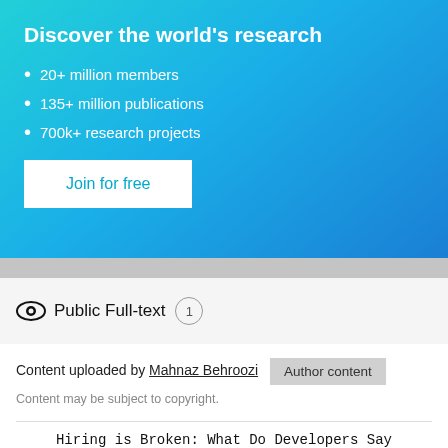Discover the world's research
20+ million members
135+ million publications
700k+ research projects
Join for free
Public Full-text 1
Content uploaded by Mahnaz Behroozi   Author content
Content may be subject to copyright.
Hiring is Broken: What Do Developers Say